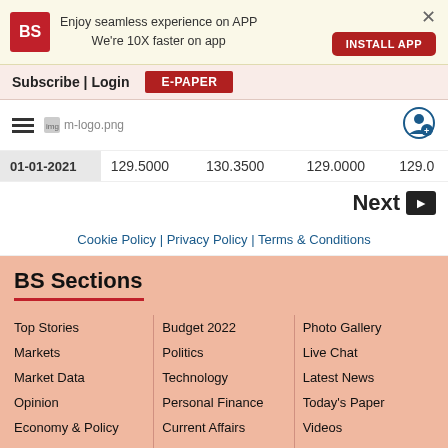Enjoy seamless experience on APP We're 10X faster on app | INSTALL APP
Subscribe | Login | E-PAPER
[Figure (logo): BS mobile logo placeholder: m-logo.png with hamburger menu and user icon]
| Date | Open | High | Low | Close |
| --- | --- | --- | --- | --- |
| 01-01-2021 | 129.5000 | 130.3500 | 129.0000 | 129.0... |
Next ▶
Cookie Policy | Privacy Policy | Terms & Conditions
BS Sections
Top Stories
Markets
Market Data
Opinion
Economy & Policy
Finance
Budget 2022
Politics
Technology
Personal Finance
Current Affairs
International
Photo Gallery
Live Chat
Latest News
Today's Paper
Videos
Sitemap